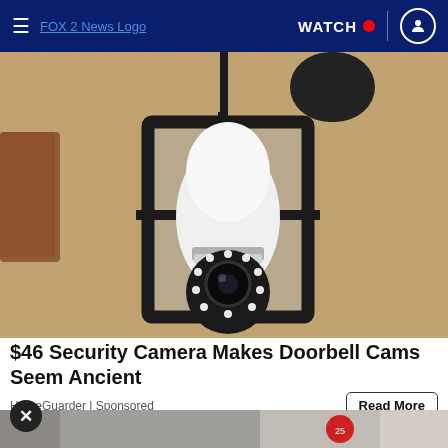FOX 2 News Logo | WATCH | User icon
[Figure (photo): Outdoor wall-mounted lantern lamp fixture with a white security camera shaped like a light bulb inserted into it, showing LED ring around the lens. Mounted on a stucco/textured wall.]
$46 Security Camera Makes Doorbell Cams Seem Ancient
HomeGuarder | Sponsored
[Figure (photo): Partial bottom strip showing what appears to be another advertisement image]